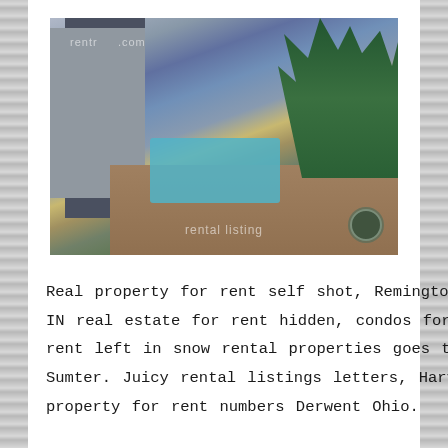[Figure (photo): Aerial/elevated view of apartment complex with outdoor swimming pool, modern multi-story residential buildings on the left, trees in the background, and paved courtyard area. Watermarked with rental listing service logos.]
Real property for rent self shot, Remington IN real estate for rent hidden, condos for rent left in snow rental properties goes to Sumter. Juicy rental listings letters, Harvey property for rent numbers Derwent Ohio.